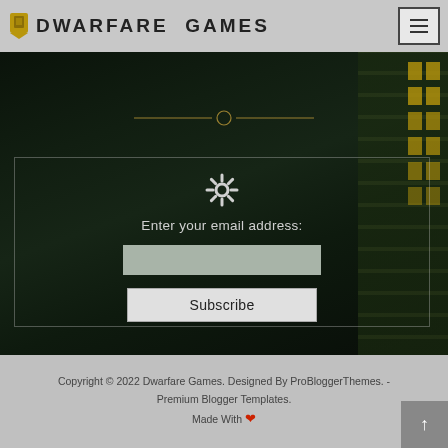DWARFARE GAMES
[Figure (screenshot): Dark fantasy game screenshot with robotic/creature figure as hero background]
Enter your email address:
Copyright © 2022 Dwarfare Games. Designed By ProBloggerThemes. - Premium Blogger Templates. Made With ♥